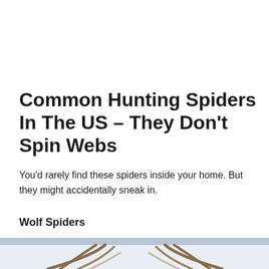Common Hunting Spiders In The US – They Don't Spin Webs
You'd rarely find these spiders inside your home. But they might accidentally sneak in.
Wolf Spiders
[Figure (photo): Partial photo of a spider (wolf spider), showing legs against a light blue/white background. Only the bottom portion of the image is visible.]